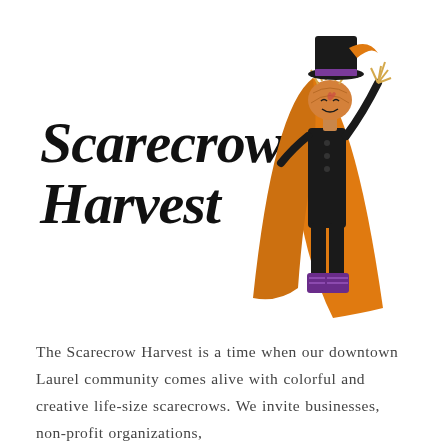[Figure (logo): Scarecrow Harvest logo: Large stylized italic text reading 'Scarecrow Harvest' in bold serif font on the left, overlapping with an illustrated scarecrow character on the right. The scarecrow has a pumpkin head, is wearing a black outfit with a long orange/gold cape, black top hat with purple band, and purple boots, with one hand raised.]
The Scarecrow Harvest is a time when our downtown Laurel community comes alive with colorful and creative life-size scarecrows. We invite businesses, non-profit organizations,